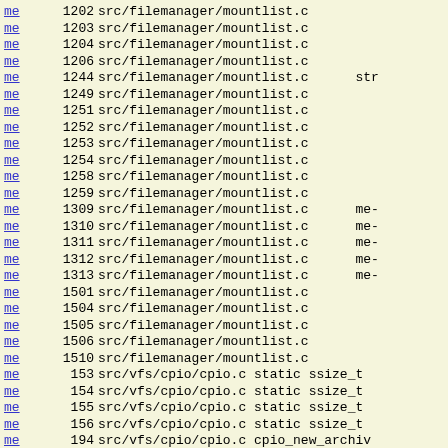me 1202 src/filemanager/mountlist.c
me 1203 src/filemanager/mountlist.c
me 1204 src/filemanager/mountlist.c
me 1206 src/filemanager/mountlist.c
me 1244 src/filemanager/mountlist.c str
me 1249 src/filemanager/mountlist.c
me 1251 src/filemanager/mountlist.c
me 1252 src/filemanager/mountlist.c
me 1253 src/filemanager/mountlist.c
me 1254 src/filemanager/mountlist.c
me 1258 src/filemanager/mountlist.c
me 1259 src/filemanager/mountlist.c
me 1309 src/filemanager/mountlist.c me-
me 1310 src/filemanager/mountlist.c me-
me 1311 src/filemanager/mountlist.c me-
me 1312 src/filemanager/mountlist.c me-
me 1313 src/filemanager/mountlist.c me-
me 1501 src/filemanager/mountlist.c
me 1504 src/filemanager/mountlist.c
me 1505 src/filemanager/mountlist.c
me 1506 src/filemanager/mountlist.c
me 1510 src/filemanager/mountlist.c
me  153 src/vfs/cpio/cpio.c static ssize_t
me  154 src/vfs/cpio/cpio.c static ssize_t
me  155 src/vfs/cpio/cpio.c static ssize_t
me  156 src/vfs/cpio/cpio.c static ssize_t
me  194 src/vfs/cpio/cpio.c cpio_new_archiv
me  199 src/vfs/cpio/cpio.c arch->base
me  209 src/vfs/cpio/cpio.c cpio_free_arch
me  213 src/vfs/cpio/cpio.c (void) me;